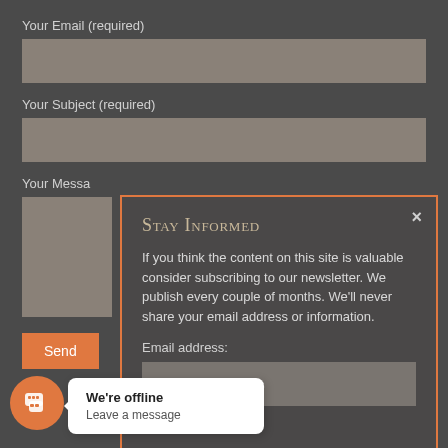Your Email (required)
Your Subject (required)
Your Messa
Send
Stay Informed
If you think the content on this site is valuable consider subscribing to our newsletter. We publish every couple of months. We'll never share your email address or information.
Email address:
Your email address
We're offline
Leave a message